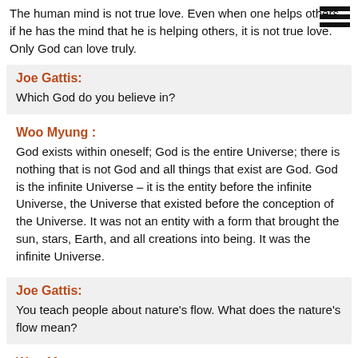The human mind is not true love. Even when one helps others, if he has the mind that he is helping others, it is not true love. Only God can love truly.
Joe Gattis: Which God do you believe in?
Woo Myung : God exists within oneself; God is the entire Universe; there is nothing that is not God and all things that exist are God. God is the infinite Universe – it is the entity before the infinite Universe, the Universe that existed before the conception of the Universe. It was not an entity with a form that brought the sun, stars, Earth, and all creations into being. It was the infinite Universe.
Joe Gattis: You teach people about nature's flow. What does the nature's flow mean?
Woo Myung : Nature's flow is the heart or mind of nature. The Universe provides us with food to eat, water to drink, with cold and heat, and gives us all the conditions to live but it never expects anything in return.